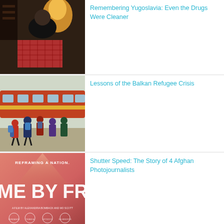[Figure (photo): Interior of a restaurant/bar, person in black jacket seated, red checkered tablecloth visible, warm lighting]
Remembering Yugoslavia: Even the Drugs Were Cleaner
[Figure (photo): Refugees boarding or alighting from a red train, carrying backpacks and luggage, rocky ground, Balkan refugee crisis]
Lessons of the Balkan Refugee Crisis
[Figure (photo): Movie poster: 'Reframing A Nation. ME BY FR...' A film by Alexandria Bomback and Mo Scott. Film festival laurels visible.]
Shutter Speed: The Story of 4 Afghan Photojournalists